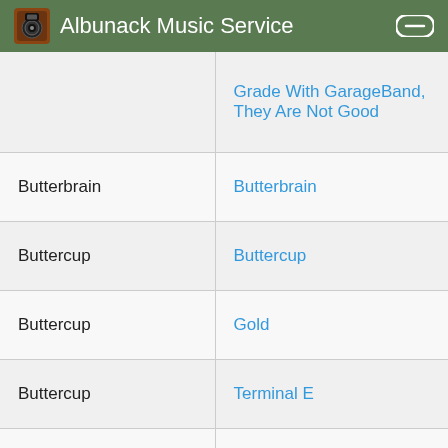Albunack Music Service
| Artist | Album |
| --- | --- |
|  | Grade With GarageBand, They Are Not Good |
| Butterbrain | Butterbrain |
| Buttercup | Buttercup |
| Buttercup | Gold |
| Buttercup | Terminal E |
| Buttered Bacon Biscuits | From The Solitary Woods |
| Butterface | Popskull |